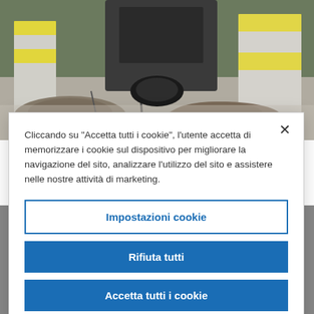[Figure (photo): Outdoor photo showing construction/excavation equipment working on a road surface, with concrete barriers marked with yellow warning symbols and gravel/dirt piles visible.]
Scies à rocher Simex RWE 35/RW 350 - Mini tranchée pour la pose de la fibre optique
Cliccando su "Accetta tutti i cookie", l'utente accetta di memorizzare i cookie sul dispositivo per migliorare la navigazione del sito, analizzare l'utilizzo del sito e assistere nelle nostre attività di marketing.
Impostazioni cookie
Rifiuta tutti
Accetta tutti i cookie